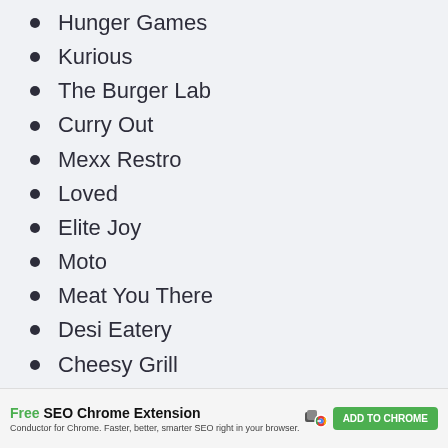Hunger Games
Kurious
The Burger Lab
Curry Out
Mexx Restro
Loved
Elite Joy
Moto
Meat You There
Desi Eatery
Cheesy Grill
Fatty Fingers
Elegance
Free SEO Chrome Extension — Conductor for Chrome. Faster, better, smarter SEO right in your browser. ADD TO CHROME